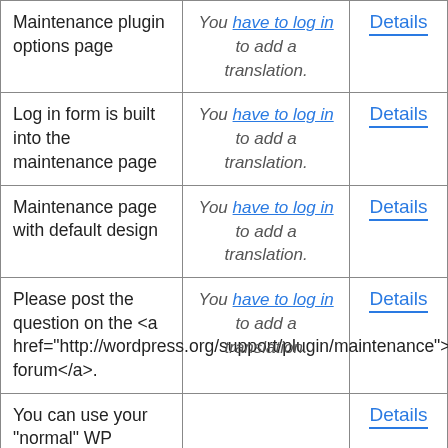|  |  |  |
| --- | --- | --- |
| Maintenance plugin options page | You have to log in to add a translation. | Details |
| Log in form is built into the maintenance page | You have to log in to add a translation. | Details |
| Maintenance page with default design | You have to log in to add a translation. | Details |
| Please post the question on the <a href="http://wordpress.org/support/plugin/maintenance">support forum</a>. | You have to log in to add a translation. | Details |
| You can use your "normal" WP administrator access | You have to log in to | Details |